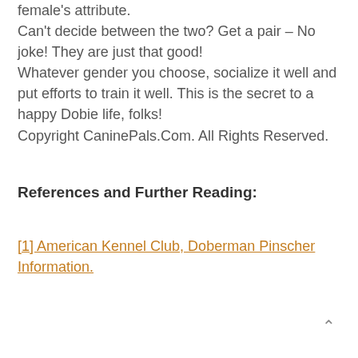female's attribute.
Can't decide between the two? Get a pair – No joke! They are just that good!
Whatever gender you choose, socialize it well and put efforts to train it well. This is the secret to a happy Dobie life, folks!
Copyright CaninePals.Com. All Rights Reserved.
References and Further Reading:
[1] American Kennel Club, Doberman Pinscher Information.